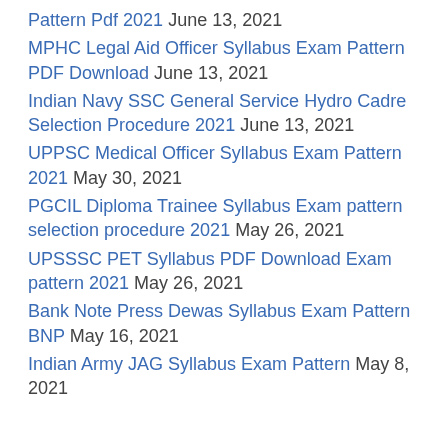Pattern Pdf 2021 June 13, 2021
MPHC Legal Aid Officer Syllabus Exam Pattern PDF Download June 13, 2021
Indian Navy SSC General Service Hydro Cadre Selection Procedure 2021 June 13, 2021
UPPSC Medical Officer Syllabus Exam Pattern 2021 May 30, 2021
PGCIL Diploma Trainee Syllabus Exam pattern selection procedure 2021 May 26, 2021
UPSSSC PET Syllabus PDF Download Exam pattern 2021 May 26, 2021
Bank Note Press Dewas Syllabus Exam Pattern BNP May 16, 2021
Indian Army JAG Syllabus Exam Pattern May 8, 2021